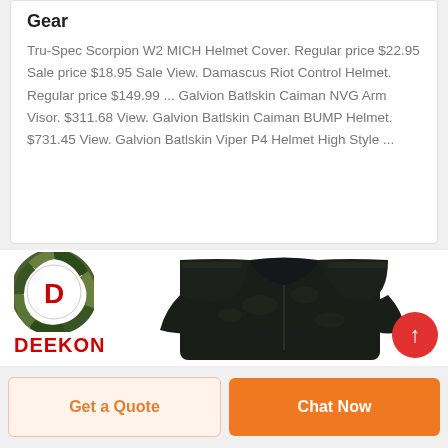Gear
Tru-Spec Scorpion W2 MICH Helmet Cover. Regular price $22.95 Sale price $18.95 Sale View. Damascus Riot Control Helmet. Regular price $149.99 ... Galvion Batlskin Caiman NVG Arm Visor. $311.68 View. Galvion Batlskin Caiman BUMP Helmet. $731.45 View. Galvion Batlskin Viper P4 Helmet High Style ...
[Figure (logo): DEEKON brand logo: circular camouflage-pattern ring with red D in center and DEEKON text below in red]
[Figure (photo): Black multicam tactical combat uniform jacket/shirt on display, dark camouflage pattern]
Get a Quote
Chat Now